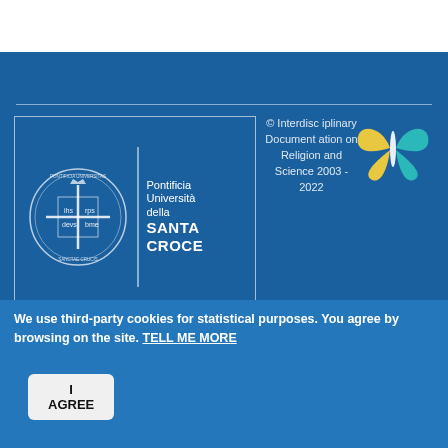[Figure (logo): Pontificia Università della Santa Croce institutional logo with seal and text]
© Interdisciplinary Documentation on Religion and Science 2003 - 2022
[Figure (logo): Butterfly logo in teal and yellow colors]
Editorial Office Address: via dei Pianellari, 41 - 00186 Rome, Italy
General Postal Address: P.zza sant'Apollinare, 49  - 00186 Rome, Italy
tel ++39 06.68.16.44.88        info@inters.org
We use third-party cookies for statistical purposes. You agree by browsing on the site. TELL ME MORE
I AGREE